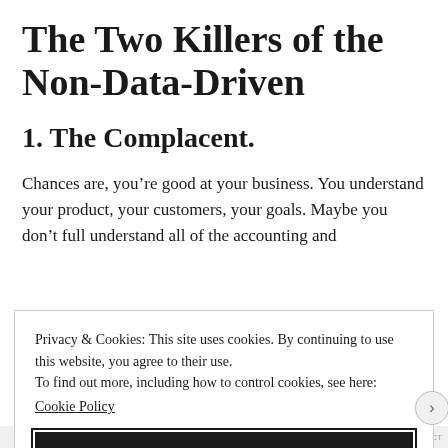The Two Killers of the Non-Data-Driven
1. The Complacent.
Chances are, you’re good at your business. You understand your product, your customers, your goals. Maybe you don’t full understand all of the accounting and
Privacy & Cookies: This site uses cookies. By continuing to use this website, you agree to their use.
To find out more, including how to control cookies, see here:
Cookie Policy
Close and accept